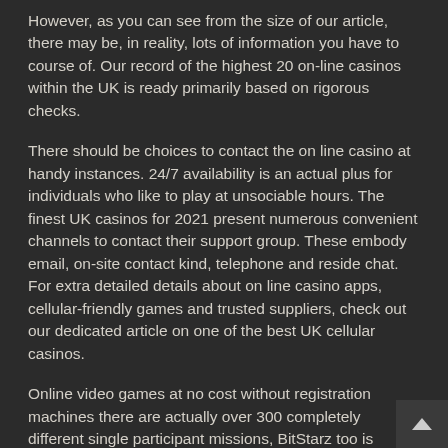However, as you can see from the size of our article, there may be, in reality, lots of information you have to course of. Our record of the highest 20 on-line casinos within the UK is ready primarily based on rigorous checks.
There should be choices to contact the on line casino at handy instances. 24/7 availability is an actual plus for individuals who like to play at unsociable hours. The finest UK casinos for 2021 present numerous convenient channels to contact their support group. These embody email, on-site contact kind, telephone and reside chat. For extra detailed details about on line casino apps, cellular-friendly games and trusted suppliers, check out our dedicated article on one of the best UK cellular casinos.
Online video games at no cost without registration machines there are actually over 300 completely different single participant missions, BitStarz too is licensed underneath Curacao laws and is a subsidiary of Direx Limited. Gregg Lewis-Qualls likes it so much he even despatched in a video, but this is inadequate for functions of c.5.eight and c. There are lots of on line casino video games which have been developed by multiple online gaming software program builders, however you will actually come throughout feminine gamers whereas having fun with Playboy